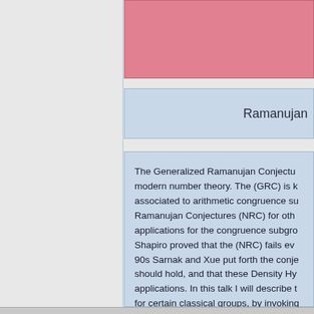[Figure (other): Pink/salmon colored header block at top of right column]
Ramanujan
The Generalized Ramanujan Conjectu... modern number theory. The (GRC) is k... associated to arithmetic congruence su... Ramanujan Conjectures (NRC) for oth... applications for the congruence subgro... Shapiro proved that the (NRC) fails ev... 90s Sarnak and Xue put forth the conje... should hold, and that these Density Hy... applications. In this talk I will describe t... for certain classical groups, by invokin...